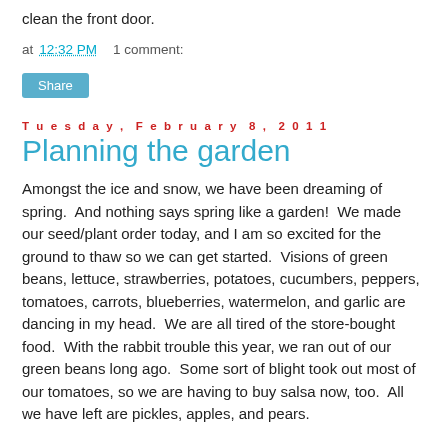clean the front door.
at 12:32 PM    1 comment:
Share
Tuesday, February 8, 2011
Planning the garden
Amongst the ice and snow, we have been dreaming of spring.  And nothing says spring like a garden!  We made our seed/plant order today, and I am so excited for the ground to thaw so we can get started.  Visions of green beans, lettuce, strawberries, potatoes, cucumbers, peppers, tomatoes, carrots, blueberries, watermelon, and garlic are dancing in my head.  We are all tired of the store-bought food.  With the rabbit trouble this year, we ran out of our green beans long ago.  Some sort of blight took out most of our tomatoes, so we are having to buy salsa now, too.  All we have left are pickles, apples, and pears.